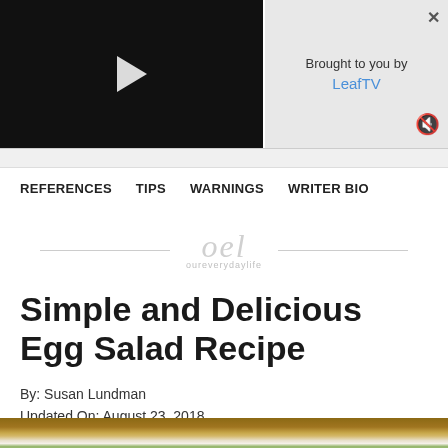[Figure (screenshot): Video player with black background and white play button triangle]
Brought to you by LeafTV
REFERENCES   TIPS   WARNINGS   WRITER BIO
[Figure (logo): oel oureverydaylife watermark logo with horizontal lines on each side]
Simple and Delicious Egg Salad Recipe
By: Susan Lundman
Updated On: August 23, 2018
[Figure (photo): Photo of egg salad on a plate with herbs, on a wooden table background, partially visible at bottom of page]